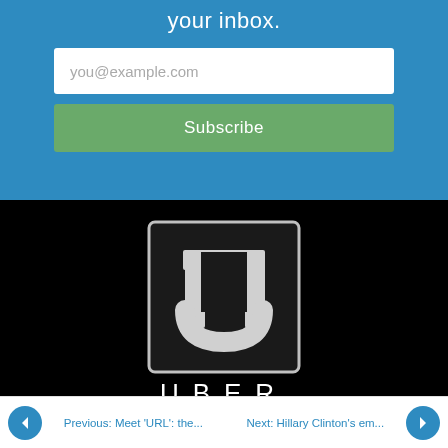your inbox.
you@example.com
Subscribe
[Figure (logo): Uber logo on black background — square icon with white U-shaped symbol and 'UBER' text in white letters below]
Previous: Meet 'URL': the...
Next: Hillary Clinton's em...